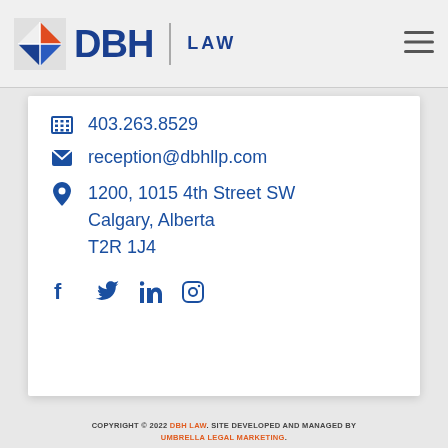[Figure (logo): DBH Law logo with geometric square icon in red/orange and blue, large bold 'DBH' text in navy blue, vertical divider line, and 'LAW' text in navy blue]
403.263.8529
reception@dbhllp.com
1200, 1015 4th Street SW
Calgary, Alberta
T2R 1J4
[Figure (illustration): Social media icons: Facebook, Twitter, LinkedIn, Instagram — all in navy blue]
COPYRIGHT © 2022 DBH LAW. SITE DEVELOPED AND MANAGED BY UMBRELLA LEGAL MARKETING.